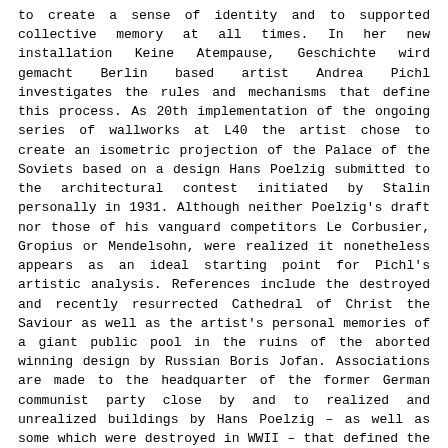to create a sense of identity and to supported collective memory at all times. In her new installation Keine Atempause, Geschichte wird gemacht Berlin based artist Andrea Pichl investigates the rules and mechanisms that define this process. As 20th implementation of the ongoing series of wallworks at L40 the artist chose to create an isometric projection of the Palace of the Soviets based on a design Hans Poelzig submitted to the architectural contest initiated by Stalin personally in 1931. Although neither Poelzig's draft nor those of his vanguard competitors Le Corbusier, Gropius or Mendelsohn, were realized it nonetheless appears as an ideal starting point for Pichl's artistic analysis. References include the destroyed and recently resurrected Cathedral of Christ the Saviour as well as the artist's personal memories of a giant public pool in the ruins of the aborted winning design by Russian Boris Jofan. Associations are made to the headquarter of the former German communist party close by and to realized and unrealized buildings by Hans Poelzig – as well as some which were destroyed in WWII – that defined the neighbourhood. To avoid misunderstandings: Although derived from a specific building the artwork is not intended to explain it's individual history. Instead the genesis of the Palace of the